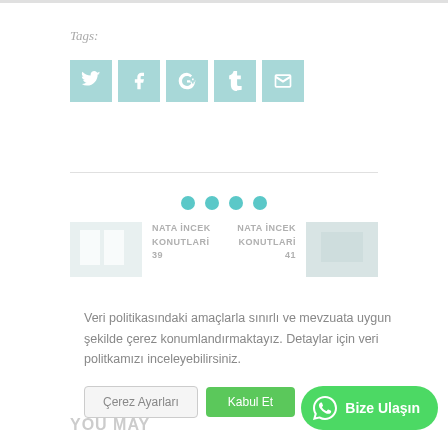Tags:
[Figure (other): Social share icons: Twitter, Facebook, Google+, Tumblr, Email — light teal square buttons with white icons]
[Figure (other): Navigation dots: four teal filled circles for a carousel/slider]
[Figure (photo): Small thumbnail image of a bright white interior room]
NATA İNCEK KONUTLARİ 39
NATA İNCEK KONUTLARİ 41
[Figure (photo): Small thumbnail image on the right side]
Veri politikasındaki amaçlarla sınırlı ve mevzuata uygun şekilde çerez konumlandırmaktayız. Detaylar için veri politkamızı inceleyebilirsiniz.
Çerez Ayarları
Kabul Et
Bize Ulaşın
YOU MAY